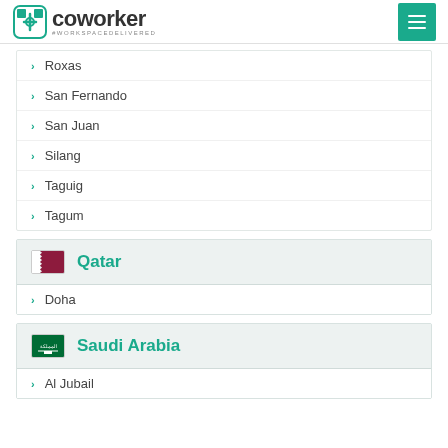coworker #WORKSPACEDELIVERED
Roxas
San Fernando
San Juan
Silang
Taguig
Tagum
Qatar
Doha
Saudi Arabia
Al Jubail